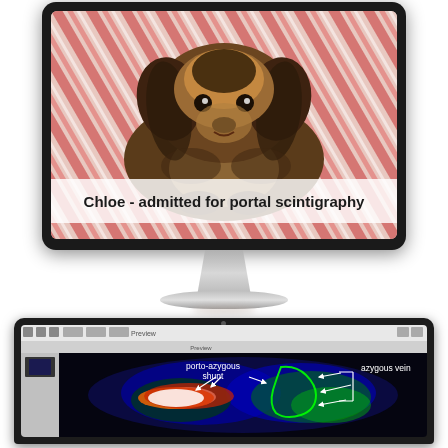[Figure (photo): Desktop computer monitor displaying a photo of a Yorkie dog named Chloe lying on a pink patterned blanket, with the caption 'Chloe - admitted for portal scintigraphy' overlaid on the image.]
[Figure (screenshot): Laptop computer screen showing a nuclear medicine / portal scintigraphy image of a dog. The false-color scintigram shows hot spots in red/white and cooler areas in blue/green. White arrows annotate 'porto-azygous shunt' on the left and 'azygous vein' on the right, with a green outline marking the azygous vein region.]